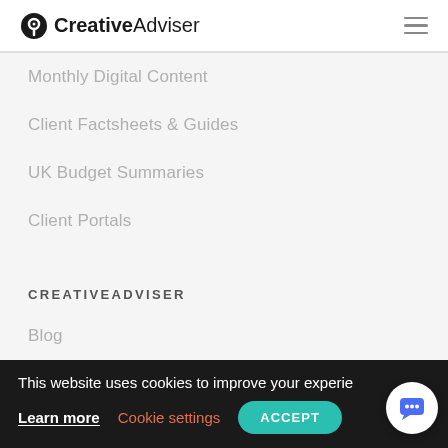CreativeAdviser
Monthly Digital Content
Client Factsheets & Guides
UK Budget Summaries
Client Portals
CREATIVEADVISER
Blog
About Us
This website uses cookies to improve your experie
Learn more   Cookie settings   ACCEPT